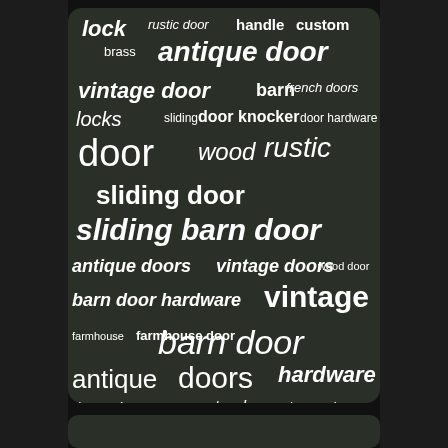[Figure (infographic): Word cloud on dark green background featuring door-related search terms in various sizes. Largest terms: 'sliding barn door', 'barn door', 'vintage'. Other prominent terms: 'door', 'sliding door', 'antique door', 'vintage door', 'antique doors', 'vintage doors', 'antique', 'doors', 'hardware', 'rustic', 'wood', 'barn door hardware', 'barn doors', 'pantry door', 'home decor', 'farmhouse door', 'farmhouse', 'lock', 'handle', 'custom', 'brass', 'barn', 'french doors', 'locks', 'sliding', 'door knocker', 'door hardware', 'wood door'.]